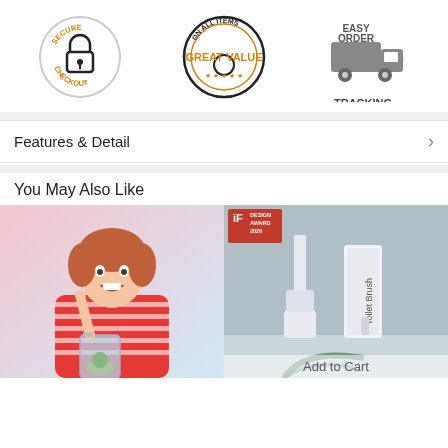[Figure (infographic): Three trust badges: Secure Checkout (padlock icon with orange text), Great Value On All Items (black and orange circular badge with stars), Easy Order Tracking (grey delivery truck icon)]
Features & Detail
You May Also Like
[Figure (photo): Excited young girl with red hair holding a spoon over a glass with a small figurine inside, pink and blue background]
[Figure (photo): White toilet brush and its box on a blue background, with iF Design Award 2020 badge, and a palm leaf at bottom. Add to Cart overlay at bottom.]